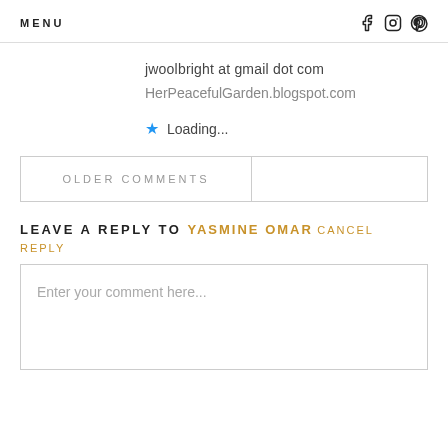MENU  f  (instagram)  (pinterest)
jwoolbright at gmail dot com
HerPeacefulGarden.blogspot.com
★ Loading...
OLDER COMMENTS
LEAVE A REPLY TO YASMINE OMAR CANCEL REPLY
Enter your comment here...